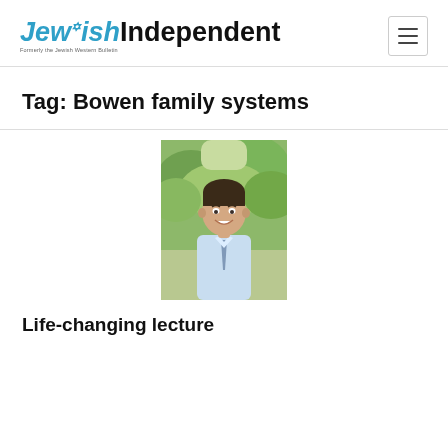Jewish Independent
Tag: Bowen family systems
[Figure (photo): Headshot of a smiling man in a light blue shirt and tie, standing outdoors with green trees in the background.]
Life-changing lecture